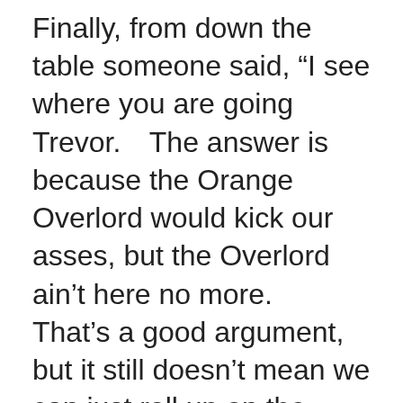Finally, from down the table someone said, “I see where you are going Trevor.  The answer is because the Orange Overlord would kick our asses, but the Overlord ain’t here no more.  That’s a good argument, but it still doesn’t mean we can just roll up on the Snakes or the Crimsons and take their shit.”
“Why not?  Because, gentlemen, whether you think we should or